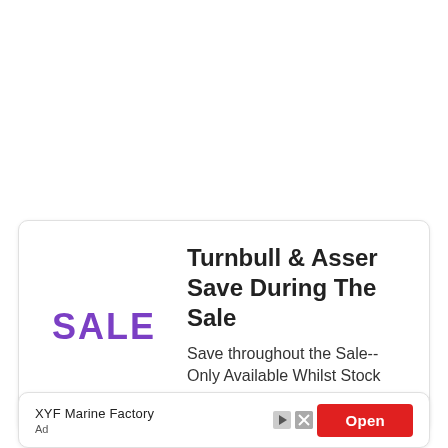[Figure (infographic): Advertisement card with purple 'SALE' text on left and headline 'Turnbull & Asser Save During The Sale' with subtext 'Save throughout the Sale-- Only Available Whilst Stock Lasts!' on the right, inside a rounded white card with shadow border.]
[Figure (infographic): Second advertisement card showing 'XYF Marine Factory' with 'Ad' label on the left, and a red 'Open' button with small play and close icons on the right.]